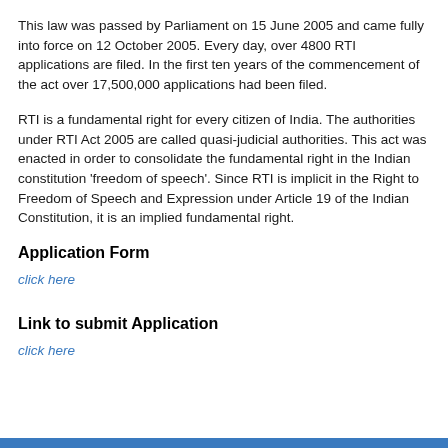This law was passed by Parliament on 15 June 2005 and came fully into force on 12 October 2005. Every day, over 4800 RTI applications are filed. In the first ten years of the commencement of the act over 17,500,000 applications had been filed.
RTI is a fundamental right for every citizen of India. The authorities under RTI Act 2005 are called quasi-judicial authorities. This act was enacted in order to consolidate the fundamental right in the Indian constitution 'freedom of speech'. Since RTI is implicit in the Right to Freedom of Speech and Expression under Article 19 of the Indian Constitution, it is an implied fundamental right.
Application Form
click here
Link to submit Application
click here